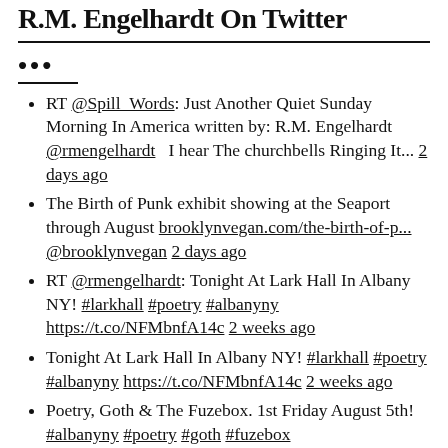R.M. Engelhardt On Twitter
...
RT @Spill_Words: Just Another Quiet Sunday Morning In America written by: R.M. Engelhardt @rmengelhardt  I hear The churchbells Ringing It... 2 days ago
The Birth of Punk exhibit showing at the Seaport through August brooklynvegan.com/the-birth-of-p... @brooklynvegan 2 days ago
RT @rmengelhardt: Tonight At Lark Hall In Albany NY! #larkhall #poetry #albanyny https://t.co/NFMbnfA14c 2 weeks ago
Tonight At Lark Hall In Albany NY! #larkhall #poetry #albanyny https://t.co/NFMbnfA14c 2 weeks ago
Poetry, Goth & The Fuzebox. 1st Friday August 5th! #albanyny #poetry #goth #fuzebox https://t.co/NWMc8ZaTH1 2 weeks ago